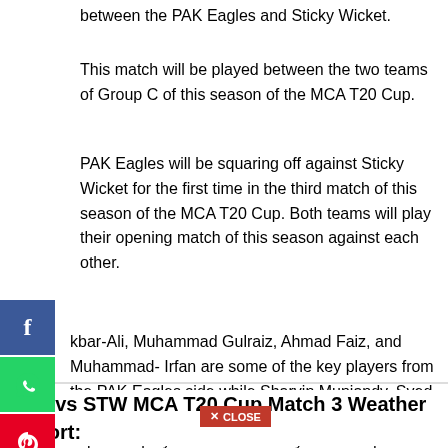between the PAK Eagles and Sticky Wicket.
This match will be played between the two teams of Group C of this season of the MCA T20 Cup.
PAK Eagles will be squaring off against Sticky Wicket for the first time in the third match of this season of the MCA T20 Cup. Both teams will play their opening match of this season against each other.
kbar-Ali, Muhammad Gulraiz, Ahmad Faiz, and Muhammad- Irfan are some of the key players from the PAK Eagles side while Sharvin Muniandy, Syed - ziz, Saifullah Malik, and Neville Liyanage are the important players from the Sticky Wicket squad.
PAE vs STW MCA T20 Cup Match 3 Weather Report: